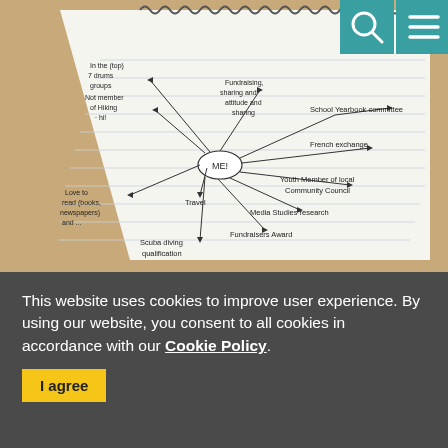[Figure (photo): A spiral-bound notebook open to a lined page showing a hand-drawn mind map centered on 'ME!' with branches to various activities: School Yearbook committee, French exchange, Youth Member of local Community Council, Media Studies research, Fundraisers Award, Scuba diving qualification, Travel, Love to read (books, newspapers), and other handwritten notes. The notebook rests on a wooden table. In the top-right corner are two teal icon boxes (a magnifying glass icon and a hamburger menu icon).]
This website uses cookies to improve user experience. By using our website, you consent to all cookies in accordance with our Cookie Policy.
I agree